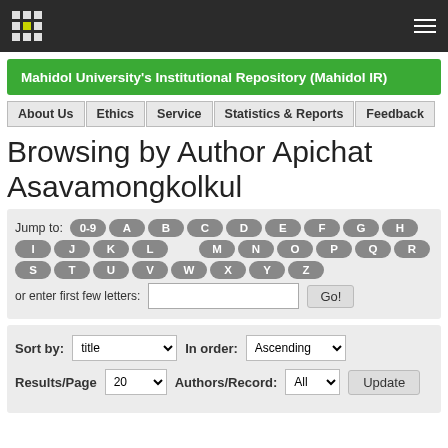Mahidol University's Institutional Repository (Mahidol IR)
About Us | Ethics | Service | Statistics & Reports | Feedback
Browsing by Author Apichat Asavamongkolkul
Jump to: 0-9 A B C D E F G H I J K L M N O P Q R S T U V W X Y Z or enter first few letters: [input] Go!
Sort by: title | In order: Ascending | Results/Page 20 | Authors/Record: All | Update